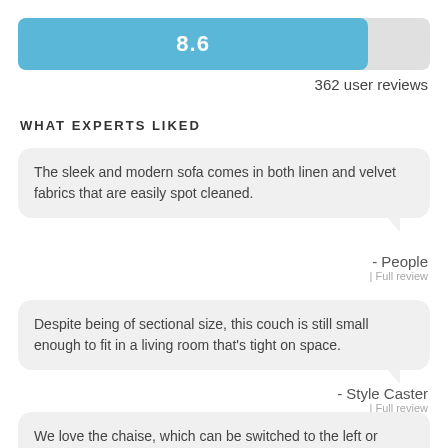[Figure (other): Horizontal progress/rating bar showing score 8.6 out of 10, filled in blue (~86%) with gray remainder]
362 user reviews
WHAT EXPERTS LIKED
The sleek and modern sofa comes in both linen and velvet fabrics that are easily spot cleaned.
- People
| Full review
Despite being of sectional size, this couch is still small enough to fit in a living room that's tight on space.
- Style Caster
| Full review
We love the chaise, which can be switched to the left or